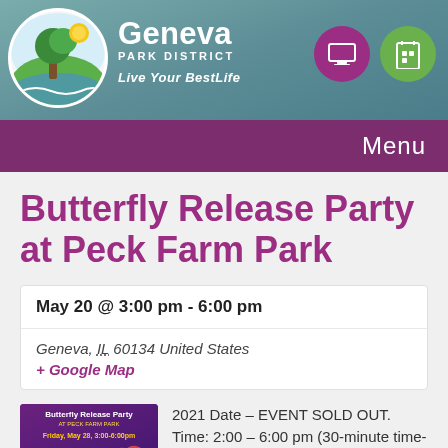[Figure (logo): Geneva Park District logo with tree, sun, and water waves in a circle]
Geneva PARK DISTRICT Live Your BestLife
Menu
Butterfly Release Party at Peck Farm Park
May 20 @ 3:00 pm - 6:00 pm
Geneva, IL 60134 United States
+ Google Map
[Figure (illustration): Butterfly Release Party event flyer with purple background, butterflies, and text]
2021 Date – EVENT SOLD OUT.
Time: 2:00 – 6:00 pm (30-minute time-